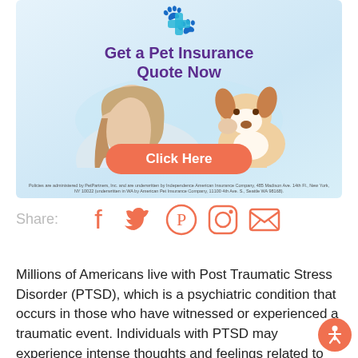[Figure (infographic): Pet insurance advertisement banner with blue/teal cross paw icon, headline 'Get a Pet Insurance Quote Now', photo of a woman kissing a small dog, an orange 'Click Here' call-to-action button, and fine-print disclaimer at the bottom.]
Share:
[Figure (infographic): Social media share icons: Facebook, Twitter, Pinterest, Instagram, Email — all in orange/coral color.]
Millions of Americans live with Post Traumatic Stress Disorder (PTSD), which is a psychiatric condition that occurs in those who have witnessed or experienced a traumatic event. Individuals with PTSD may experience intense thoughts and feelings related to